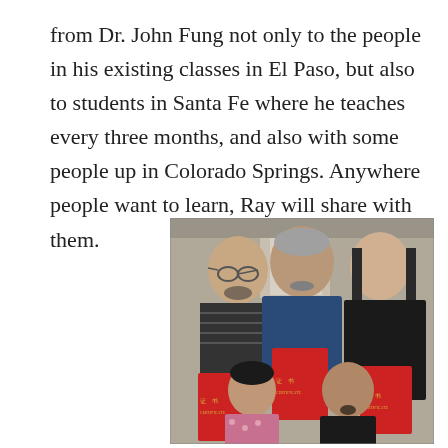from Dr. John Fung not only to the people in his existing classes in El Paso, but also to students in Santa Fe where he teaches every three months, and also with some people up in Colorado Springs. Anywhere people want to learn, Ray will share with them.
[Figure (photo): Group photo of five people, three men standing in back row and a woman and man kneeling/sitting in front row, with three red certificate books labeled '证书 CERTIFICATE' being held.]